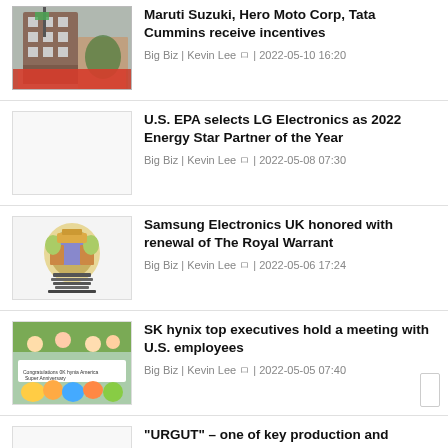[Figure (photo): Photo of a building facade with people and a green banner/flag]
Maruti Suzuki, Hero Moto Corp, Tata Cummins receive incentives
Big Biz | Kevin Lee ㅁ | 2022-05-10 16:20
[Figure (photo): Blank/white placeholder image]
U.S. EPA selects LG Electronics as 2022 Energy Star Partner of the Year
Big Biz | Kevin Lee ㅁ | 2022-05-08 07:30
[Figure (photo): Royal coat of arms emblem]
Samsung Electronics UK honored with renewal of The Royal Warrant
Big Biz | Kevin Lee ㅁ | 2022-05-06 17:24
[Figure (photo): People holding a congratulations banner]
SK hynix top executives hold a meeting with U.S. employees
Big Biz | Kevin Lee ㅁ | 2022-05-05 07:40
[Figure (photo): Blank/white placeholder image]
"URGUT" – one of key production and